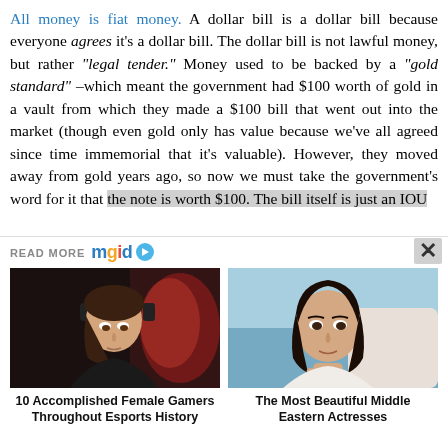All money is fiat money. A dollar bill is a dollar bill because everyone agrees it's a dollar bill. The dollar bill is not lawful money, but rather "legal tender." Money used to be backed by a "gold standard" –which meant the government had $100 worth of gold in a vault from which they made a $100 bill that went out into the market (though even gold only has value because we've all agreed since time immemorial that it's valuable). However, they moved away from gold years ago, so now we must take the government's word for it that the note is worth $100. The bill itself is just an IOU
READ MORE mgid
[Figure (photo): Photo of a young woman with red and black gaming headphones, looking downward, in a dark gaming setup]
10 Accomplished Female Gamers Throughout Esports History
[Figure (photo): Photo of a young Middle Eastern woman with dark hair, resting her chin on her hand, in a light-colored setting]
The Most Beautiful Middle Eastern Actresses